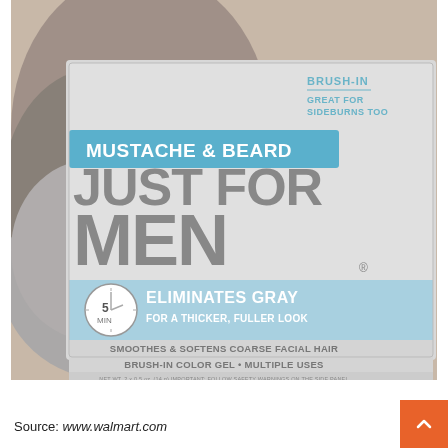[Figure (photo): Product image of Just For Men Mustache & Beard Brush-In Color Gel packaging. The box is light gray/silver with a blue banner reading 'MUSTACHE & BEARD' and large gray text 'JUST FOR MEN'. Features a timer icon showing '5 MIN', text 'ELIMINATES GRAY FOR A THICKER, FULLER LOOK', 'SMOOTHES & SOFTENS COARSE FACIAL HAIR', 'BRUSH-IN COLOR GEL • MULTIPLE USES', 'GREAT FOR SIDEBURNS TOO', and 'NET WT. 2 x 0.5 oz. (14 g) IMPORTANT: FOLLOW SAFETY WARNINGS ON THE SIDE PANEL'. Background shows a man with a beard.]
Source: www.walmart.com